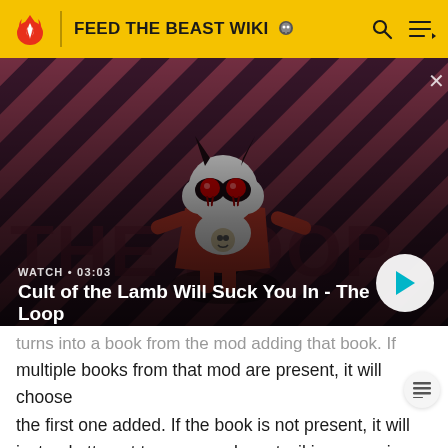FEED THE BEAST WIKI
[Figure (screenshot): Video thumbnail showing a cartoon lamb character in a red and dark purple diagonal striped background. Video title: 'Cult of the Lamb Will Suck You In - The Loop', duration: 03:03, WATCH label visible.]
turns into a book from the mod adding that book. If multiple books from that mod are present, it will choose the first one added. If the book is not present, it will instead attempt to open a relevant wiki page, using Botania's wiki lookup API used by the Lexica Botania.